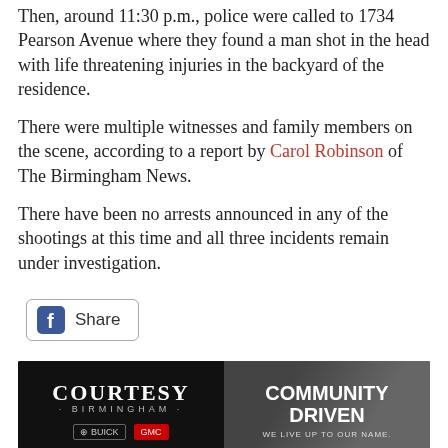Then, around 11:30 p.m., police were called to 1734 Pearson Avenue where they found a man shot in the head with life threatening injuries in the backyard of the residence.
There were multiple witnesses and family members on the scene, according to a report by Carol Robinson of The Birmingham News.
There have been no arrests announced in any of the shootings at this time and all three incidents remain under investigation.
[Figure (screenshot): Facebook Share button with rounded border]
[Figure (photo): Courtesy Birmingham - Buick GMC advertisement banner with 'COMMUNITY DRIVEN. WE LIVE UP TO OUR NAME.' text on the right side.]
Tags: 1 dead in Birmingham shooting | 2 critical in separate shootings | 3 Birmingham shootings | Birmingham violence